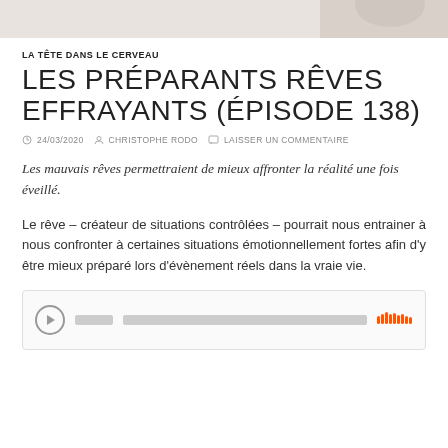[Figure (photo): Partial top image, appears to be a person, cropped, light background]
LA TÊTE DANS LE CERVEAU
LES PRÉPARANTS RÊVES EFFRAYANTS (ÉPISODE 138)
24/03/2020   CHRISTOPHE RODO   LAISSER UN COMMENTAIRE
Les mauvais rêves permettraient de mieux affronter la réalité une fois éveillé.
Le rêve – créateur de situations contrôlées – pourrait nous entrainer à nous confronter à certaines situations émotionnellement fortes afin d'y être mieux préparé lors d'évènement réels dans la vraie vie.
[Figure (screenshot): SoundCloud audio player widget embedded in the article]